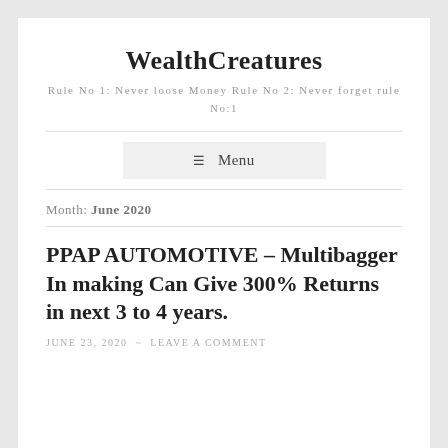WealthCreatures
Rule No 1: Never loose Money Rule No 2: Never forget rule No:1
≡ Menu
Month: June 2020
PPAP AUTOMOTIVE – Multibagger In making Can Give 300% Returns in next 3 to 4 years.
JUNE 23, 2020 ~ LEAVE A COMMENT